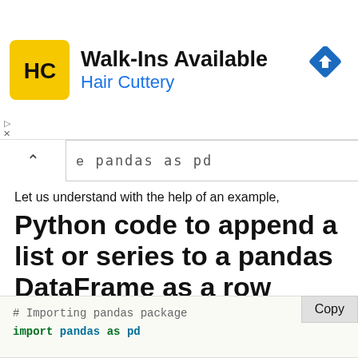[Figure (infographic): Hair Cuttery advertisement banner with logo, 'Walk-Ins Available' heading, 'Hair Cuttery' subtitle in blue, and a blue navigation arrow icon on the right.]
import pandas as pd (partial code bar visible with chevron/collapse control)
Let us understand with the help of an example,
Python code to append a list or series to a pandas DataFrame as a row
# Importing pandas package
import pandas as pd

# Creating a list of list and appending another
# list inside it
list = [['Ram','Shyam']]